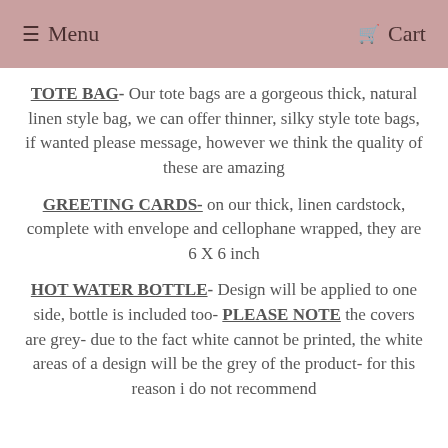Menu   Cart
TOTE BAG- Our tote bags are a gorgeous thick, natural linen style bag, we can offer thinner, silky style tote bags, if wanted please message, however we think the quality of these are amazing
GREETING CARDS- on our thick, linen cardstock, complete with envelope and cellophane wrapped, they are 6 X 6 inch
HOT WATER BOTTLE- Design will be applied to one side, bottle is included too- PLEASE NOTE the covers are grey- due to the fact white cannot be printed, the white areas of a design will be the grey of the product- for this reason i do not recommend